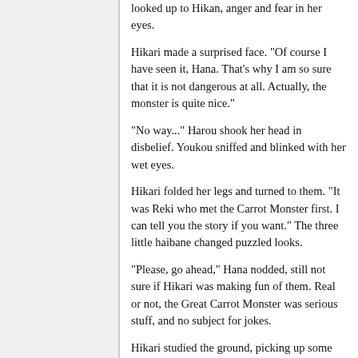looked up to Hikan, anger and fear in her eyes.
Hikari made a surprised face. "Of course I have seen it, Hana. That's why I am so sure that it is not dangerous at all. Actually, the monster is quite nice."
"No way..." Harou shook her head in disbelief. Youkou sniffed and blinked with her wet eyes.
Hikari folded her legs and turned to them. "It was Reki who met the Carrot Monster first. I can tell you the story if you want." The three little haibane changed puzzled looks.
"Please, go ahead," Hana nodded, still not sure if Hikari was making fun of them. Real or not, the Great Carrot Monster was serious stuff, and no subject for jokes.
Hikari studied the ground, picking up some blades of grass, and began to twist them. She took a deep breath, and started: "You know, Reki was still a young girl when it happened. She was about the same age as you are, Youkou. She had two long, black pigtails..."
"I also want pigtails!" interrupted Harou.